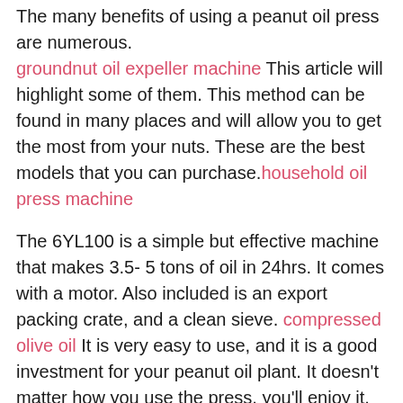The many benefits of using a peanut oil press are numerous. groundnut oil expeller machine This article will highlight some of them. This method can be found in many places and will allow you to get the most from your nuts. These are the best models that you can purchase. household oil press machine
The 6YL100 is a simple but effective machine that makes 3.5- 5 tons of oil in 24hrs. It comes with a motor. Also included is an export packing crate, and a clean sieve. compressed olive oil It is very easy to use, and it is a good investment for your peanut oil plant. It doesn't matter how you use the press, you'll enjoy it. Once you get your press, it will be easy to start making your high-quality oil. chekku oil machine for home
Depending on your needs the 6YL100 will produce between 3 and 5 tons of oil within 24 hours. This machine has a high production and is available with accessories like an export pack, a decortciater and cleaning sieve. You may need a